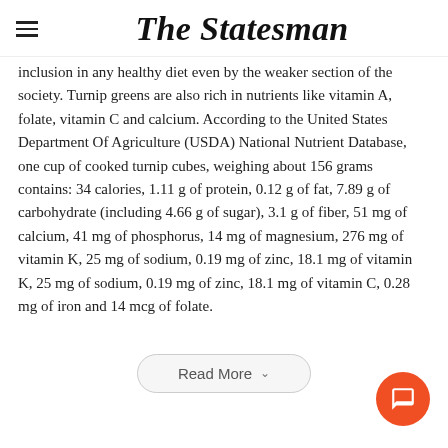The Statesman
inclusion in any healthy diet even by the weaker section of the society. Turnip greens are also rich in nutrients like vitamin A, folate, vitamin C and calcium. According to the United States Department Of Agriculture (USDA) National Nutrient Database, one cup of cooked turnip cubes, weighing about 156 grams contains: 34 calories, 1.11 g of protein, 0.12 g of fat, 7.89 g of carbohydrate (including 4.66 g of sugar), 3.1 g of fiber, 51 mg of calcium, 41 mg of phosphorus, 14 mg of magnesium, 276 mg of vitamin K, 25 mg of sodium, 0.19 mg of zinc, 18.1 mg of vitamin C, 0.28 mg of iron and 14 mcg of folate.
Read More